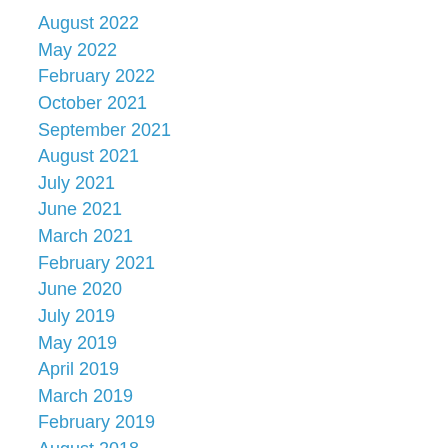August 2022
May 2022
February 2022
October 2021
September 2021
August 2021
July 2021
June 2021
March 2021
February 2021
June 2020
July 2019
May 2019
April 2019
March 2019
February 2019
August 2018
October 2017
March 2017
February 2017